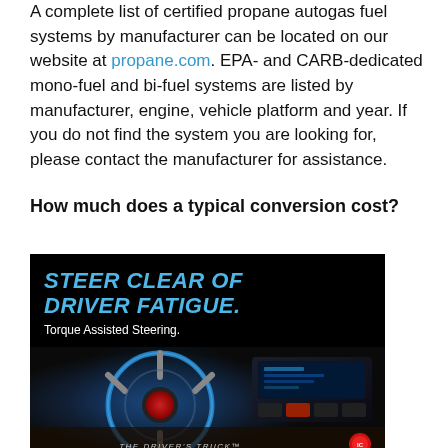A complete list of certified propane autogas fuel systems by manufacturer can be located on our website at propane.com. EPA- and CARB-dedicated mono-fuel and bi-fuel systems are listed by manufacturer, engine, vehicle platform and year. If you do not find the system you are looking for, please contact the manufacturer for assistance.
How much does a typical conversion cost?
[Figure (photo): Advertisement image with dark background showing text 'STEER CLEAR OF DRIVER FATIGUE.' in large bold italic cyan text, subtitle 'Torque Assisted Steering.' in white, and a truck interior dashboard/steering wheel image with blue glowing effects. Footer reads 'THE DRIVER'S TRUCK' with a logo.]